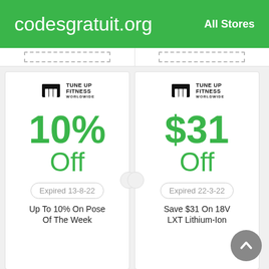codesgratuit.org  All Stores
[Figure (other): Dashed coupon outlines from previous coupons (partially visible strip)]
[Figure (other): Tune Up Fitness Worldwide coupon card: 10% Off, Expired 13-8-22, Up To 10% On Pose Of The Week]
[Figure (other): Tune Up Fitness Worldwide coupon card: $31 Off, Expired 22-3-22, Save $31 On 18V LXT Lithium-Ion]
Up To 10% On Pose Of The Week
Save $31 On 18V LXT Lithium-Ion